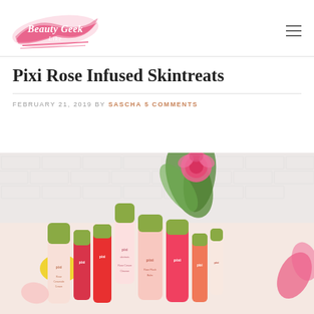[Figure (logo): Beauty Geek Like Me blog logo with pink brush stroke and script text]
Pixi Rose Infused Skintreats
FEBRUARY 21, 2019 BY SASCHA 5 COMMENTS
[Figure (photo): Flat lay photo of multiple Pixi skincare products including Rose Ceramide Cream, toners, and serums with pink rose in background against white brick wall]